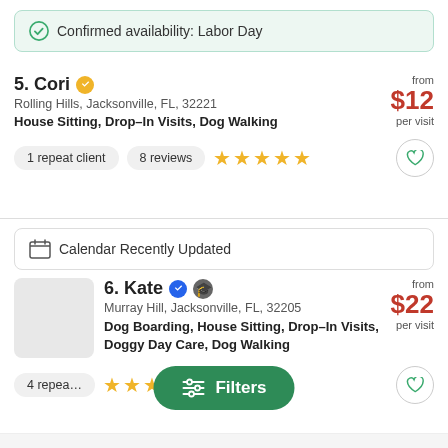Confirmed availability: Labor Day
5. Cori · Rolling Hills, Jacksonville, FL, 32221 · House Sitting, Drop-In Visits, Dog Walking · from $12 per visit · 1 repeat client · 8 reviews
Calendar Recently Updated
6. Kate · Murray Hill, Jacksonville, FL, 32205 · Dog Boarding, House Sitting, Drop-In Visits, Doggy Day Care, Dog Walking · from $22 per visit · 4 repeat clients · 5 star reviews